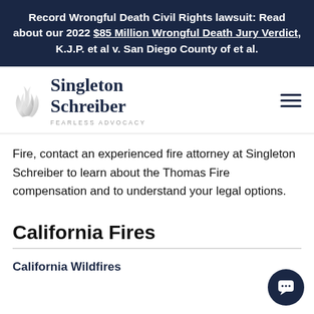Record Wrongful Death Civil Rights lawsuit: Read about our 2022 $85 Million Wrongful Death Jury Verdict, K.J.P. et al v. San Diego County of et al.
[Figure (logo): Singleton Schreiber law firm logo with flame icon and tagline FEARLESS ADVOCACY]
Fire, contact an experienced fire attorney at Singleton Schreiber to learn about the Thomas Fire compensation and to understand your legal options.
California Fires
California Wildfires